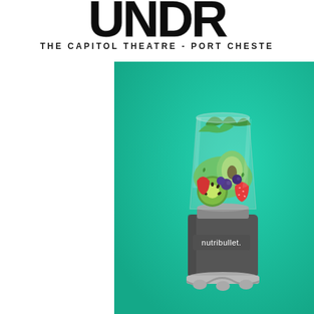UNDR
THE CAPITOL THEATRE - PORT CHESTE
[Figure (photo): A nutribullet blender filled with fresh fruits (strawberries, kiwi, blueberries, avocado, greens) on a teal/mint green background. The dark grey blender base has the 'nutribullet.' logo in white text.]